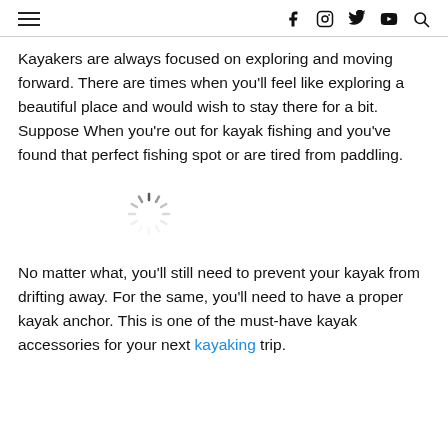Menu | f | Instagram | Twitter | YouTube | Search
Kayakers are always focused on exploring and moving forward. There are times when you'll feel like exploring a beautiful place and would wish to stay there for a bit. Suppose When you're out for kayak fishing and you've found that perfect fishing spot or are tired from paddling.
[Figure (illustration): A loading spinner icon (circular dashed spinner) indicating an image is loading.]
No matter what, you'll still need to prevent your kayak from drifting away. For the same, you'll need to have a proper kayak anchor. This is one of the must-have kayak accessories for your next kayaking trip.